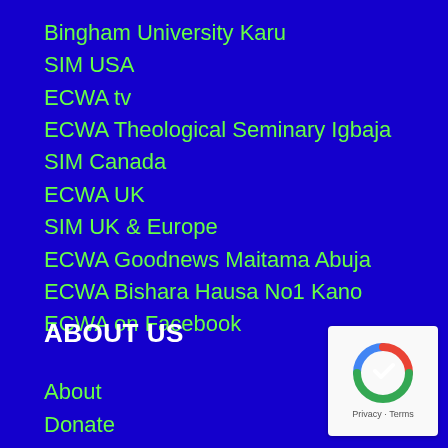Bingham University Karu
SIM USA
ECWA tv
ECWA Theological Seminary Igbaja
SIM Canada
ECWA UK
SIM UK & Europe
ECWA Goodnews Maitama Abuja
ECWA Bishara Hausa No1 Kano
ECWA on Facebook
ABOUT US
About
Donate
eCommunicator
[Figure (logo): reCAPTCHA badge with privacy and terms links]